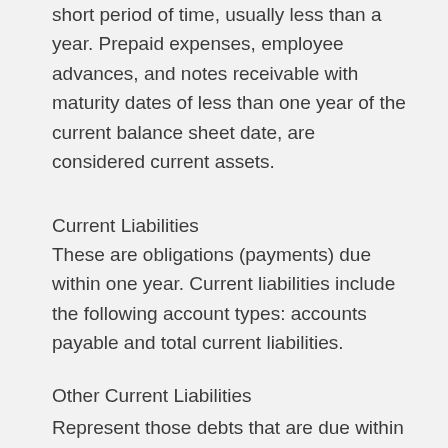short period of time, usually less than a year. Prepaid expenses, employee advances, and notes receivable with maturity dates of less than one year of the current balance sheet date, are considered current assets.
Current Liabilities
These are obligations (payments) due within one year. Current liabilities include the following account types: accounts payable and total current liabilities.
Other Current Liabilities
Represent those debts that are due within a